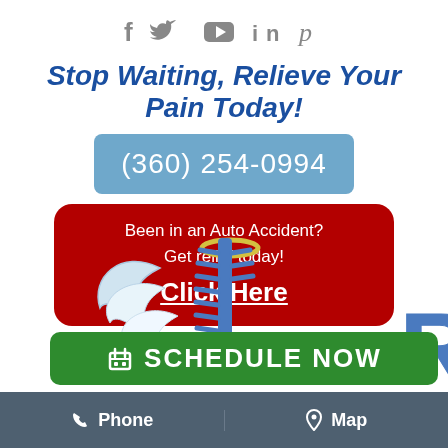[Figure (logo): Social media icons: Facebook, Twitter, YouTube, LinkedIn, Pinterest]
Stop Waiting, Relieve Your Pain Today!
[Figure (other): Blue button with phone number (360) 254-0994]
[Figure (other): Red rounded button: Been in an Auto Accident? Get relief today! Click Here]
[Figure (logo): Chiropractic logo with angel wing and spine illustration, SCHEDULE NOW green button overlay, partial letter R from clinic name]
Phone   Map